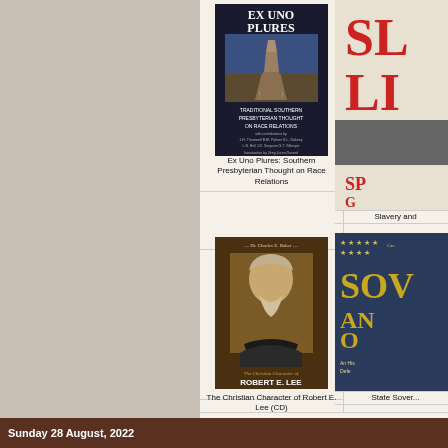[Figure (illustration): Book cover: Ex Uno Plures - Traditional Southern Presbyterian Thought on Race Relations. Dark background with tower of Babel image, white and gold text. Introduction by Greg Loren Durand.]
Ex Uno Plures: Southern Presbyterian Thought on Race Relations
[Figure (illustration): Book cover: Slavery and... (partially visible, red and black text on white/grey background)]
Slavery and
[Figure (illustration): Book cover: The Christian Character of Robert E. Lee (CD) by Dr. Charles E. Baker. Portrait of Robert E. Lee in dark clothing on brown background.]
The Christian Character of Robert E. Lee (CD)
[Figure (illustration): Book cover: State Sovereignty... (partially visible). Shows 'SOV', 'AN', 'O', 'An His Defe...' text on starry background by Greg...]
State Sover...
Currently viewing: America's Caes...
Sunday 28 August, 2022